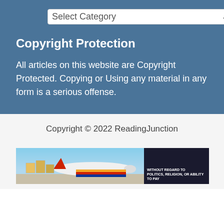[Figure (screenshot): Select Category dropdown widget with white background and chevron arrow, on blue background]
Copyright Protection
All articles on this website are Copyright Protected. Copying or Using any material in any form is a serious offense.
Copyright © 2022 ReadingJunction
[Figure (photo): Advertisement banner showing cargo being loaded onto a colorful airplane, with a dark panel reading WITHOUT REGARD TO POLITICS, RELIGION, OR ABILITY TO PAY]